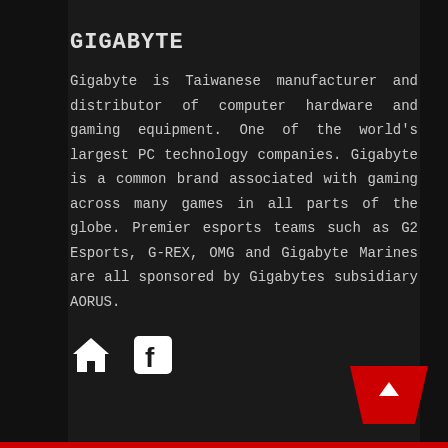GIGABYTE
Gigabyte is Taiwanese manufacturer and distributor of computer hardware and gaming equipment. One of the world's largest PC technology companies. Gigabyte is a common brand associated with gaming across many games in all parts of the globe. Premier esports teams such as G2 Esports, G-REX, OMG and Gigabyte Marines are all sponsored by Gigabytes subsidiary AORUS.
[Figure (illustration): Home icon (house symbol) and Facebook icon (letter f in square), white on dark background]